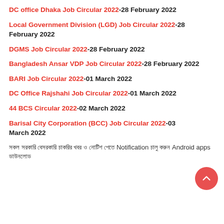DC office Dhaka Job Circular 2022-28 February 2022
Local Government Division (LGD) Job Circular 2022-28 February 2022
DGMS Job Circular 2022-28 February 2022
Bangladesh Ansar VDP Job Circular 2022-28 February 2022
BARI Job Circular 2022-01 March 2022
DC Office Rajshahi Job Circular 2022-01 March 2022
44 BCS Circular 2022-02 March 2022
Barisal City Corporation (BCC) Job Circular 2022-03 March 2022
সকল সরকারি বেসরকারি চাকরির খবর ও নোটিশ পেতে Notification চালু করুন Android apps ডাউনলোড